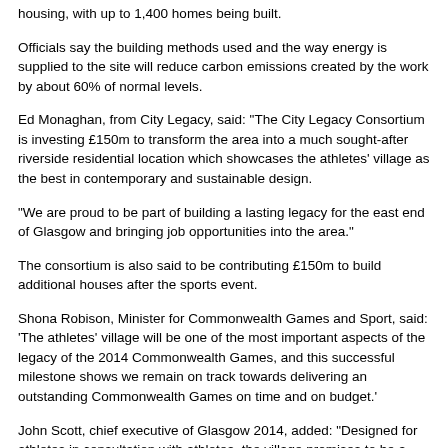housing, with up to 1,400 homes being built.
Officials say the building methods used and the way energy is supplied to the site will reduce carbon emissions created by the work by about 60% of normal levels.
Ed Monaghan, from City Legacy, said: "The City Legacy Consortium is investing £150m to transform the area into a much sought-after riverside residential location which showcases the athletes' village as the best in contemporary and sustainable design.
"We are proud to be part of building a lasting legacy for the east end of Glasgow and bringing job opportunities into the area."
The consortium is also said to be contributing £150m to build additional houses after the sports event.
Shona Robison, Minister for Commonwealth Games and Sport, said: 'The athletes' village will be one of the most important aspects of the legacy of the 2014 Commonwealth Games, and this successful milestone shows we remain on track towards delivering an outstanding Commonwealth Games on time and on budget.'
John Scott, chief executive of Glasgow 2014, added: "Designed for athletes in consultation with athletes, the village promises to be a true home-from-home experience for the 6,500 athletes and officials from all over the world coming to Glasgow in 2014."